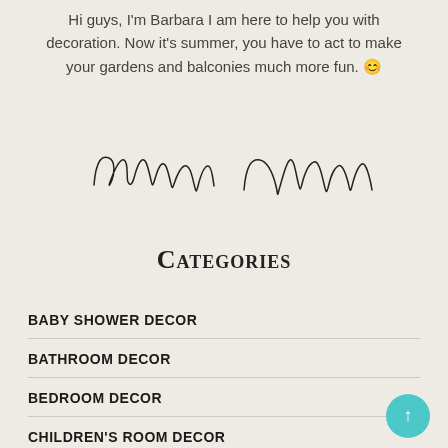Hi guys, I'm Barbara I am here to help you with decoration. Now it's summer, you have to act to make your gardens and balconies much more fun. 😊
[Figure (illustration): Handwritten cursive signature reading 'Barbara Deborah']
Categories
BABY SHOWER DECOR
BATHROOM DECOR
BEDROOM DECOR
CHILDREN'S ROOM DECOR